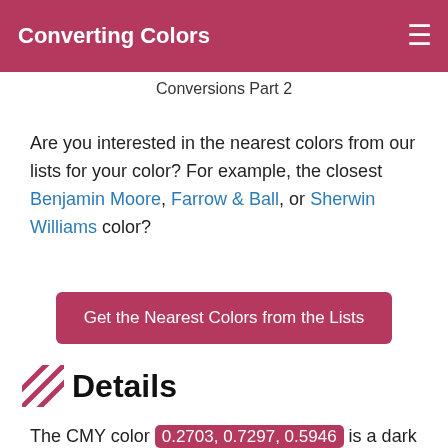Converting Colors
Conversions Part 2
Are you interested in the nearest colors from our lists for your color? For example, the closest Benjamin Moore, Farrow & Ball, or Sherwin Williams color?
Get the Nearest Colors from the Lists
Details
The CMY color 0.2703, 0.7297, 0.5946 is a dark color, and the websafe version is hex CC3366. A complement of this color would be 0.7297, 0.2703,